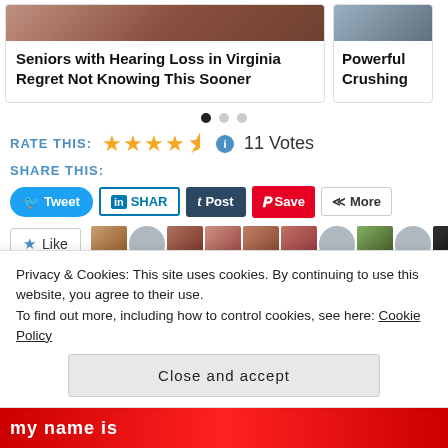[Figure (screenshot): Card with text: Seniors with Hearing Loss in Virginia Regret Not Knowing This Sooner]
Seniors with Hearing Loss in Virginia Regret Not Knowing This Sooner
[Figure (screenshot): Partial card showing text: Powerful Crushing]
Powerful Crushing
[Figure (other): Carousel navigation dots: filled dot, two grey dots]
RATE THIS: ★★★★½ ⓘ 11 Votes
SHARE THIS:
Tweet  SHAR  Post  Save  More
[Figure (screenshot): Like button and row of user avatar photos]
Privacy & Cookies: This site uses cookies. By continuing to use this website, you agree to their use.
To find out more, including how to control cookies, see here: Cookie Policy
Close and accept